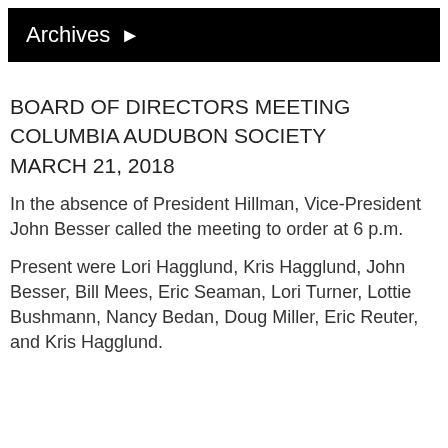Archives ▶
BOARD OF DIRECTORS MEETING
COLUMBIA AUDUBON SOCIETY
MARCH 21, 2018
In the absence of President Hillman, Vice-President John Besser called the meeting to order at 6 p.m.
Present were Lori Hagglund, Kris Hagglund, John Besser, Bill Mees, Eric Seaman, Lori Turner, Lottie Bushmann, Nancy Bedan, Doug Miller, Eric Reuter, and Kris Hagglund.